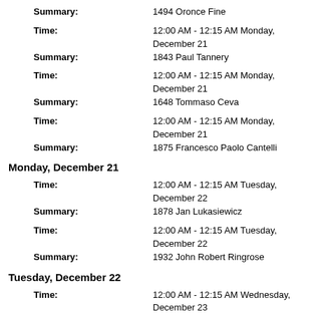Time: 12:00 AM - 12:15 AM Monday, December 21
Summary: 1494 Oronce Fine
Time: 12:00 AM - 12:15 AM Monday, December 21
Summary: 1843 Paul Tannery
Time: 12:00 AM - 12:15 AM Monday, December 21
Summary: 1648 Tommaso Ceva
Time: 12:00 AM - 12:15 AM Monday, December 21
Summary: 1875 Francesco Paolo Cantelli
Monday, December 21
Time: 12:00 AM - 12:15 AM Tuesday, December 22
Summary: 1878 Jan Lukasiewicz
Time: 12:00 AM - 12:15 AM Tuesday, December 22
Summary: 1932 John Robert Ringrose
Tuesday, December 22
Time: 12:00 AM - 12:15 AM Wednesday, December 23
Summary: 1819 Pierre Ossian Bonnet
Time: 12:00 AM - 12:15 AM Wednesday, December 23
Summary: 1824 Francesco Brioschi
Time: 12:00 AM - 12:15 AM Wednesday, December 23
Summary: 1859 Otto Ludwig Hölder
Time: 12:00 AM - 12:15 AM Wednesday, December 23
Summary: 1887 Srinivasa Aiyangar Ramanujan
Time: 12:00 AM - 12:15 AM Wednesday, December 23